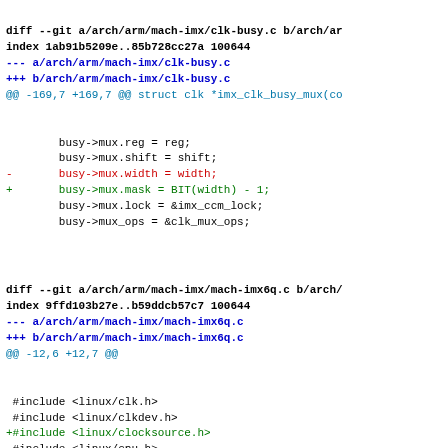diff --git a/arch/arm/mach-imx/clk-busy.c b/arch/ar
index 1ab91b5209e..85b728cc27a 100644
--- a/arch/arm/mach-imx/clk-busy.c
+++ b/arch/arm/mach-imx/clk-busy.c
@@ -169,7 +169,7 @@ struct clk *imx_clk_busy_mux(co
busy->mux.reg = reg;
        busy->mux.shift = shift;
-       busy->mux.width = width;
+       busy->mux.mask = BIT(width) - 1;
        busy->mux.lock = &imx_ccm_lock;
        busy->mux_ops = &clk_mux_ops;
diff --git a/arch/arm/mach-imx/mach-imx6q.c b/arch/
index 9ffd103b27e..b59ddcb57c7 100644
--- a/arch/arm/mach-imx/mach-imx6q.c
+++ b/arch/arm/mach-imx/mach-imx6q.c
@@ -12,6 +12,7 @@
#include <linux/clk.h>
 #include <linux/clkdev.h>
+#include <linux/clocksource.h>
 #include <linux/cpu.h>
 #include <linux/delay.h>
 #include <linux/export.h>
@@ -28,11 +29,9 @@
 #include <linux/regmap.h>
 #include <linux/micrel_phy.h>
 #include <linux/mfd/syscon.h>